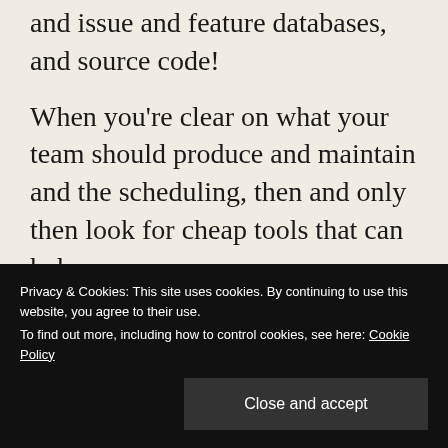and issue and feature databases, and source code!
When you're clear on what your team should produce and maintain and the scheduling, then and only then look for cheap tools that can help.
Here is a take:
You can start with a few simple...
Privacy & Cookies: This site uses cookies. By continuing to use this website, you agree to their use.
To find out more, including how to control cookies, see here: Cookie Policy
Close and accept